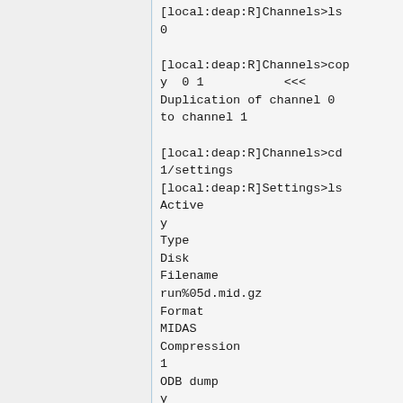[local:deap:R]Channels>ls
0

[local:deap:R]Channels>copy  0 1           <<<
Duplication of channel 0 to channel 1

[local:deap:R]Channels>cd 1/settings
[local:deap:R]Settings>ls
Active
y
Type
Disk
Filename
run%05d.mid.gz
Format
MIDAS
Compression
1
ODB dump
y
Log messages
0